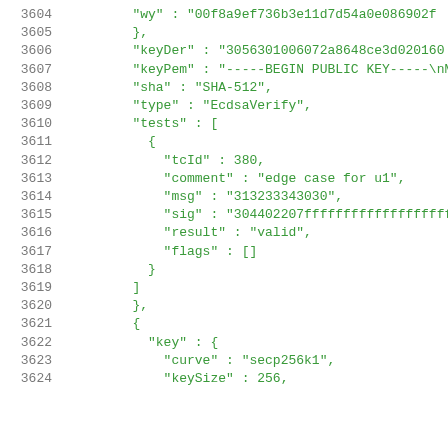3604    "wy" : "00f8a9ef736b3e11d7d54a0e086902f
3605    },
3606    "keyDer" : "3056301006072a8648ce3d020160
3607    "keyPem" : "-----BEGIN PUBLIC KEY-----\nM
3608    "sha" : "SHA-512",
3609    "type" : "EcdsaVerify",
3610    "tests" : [
3611      {
3612        "tcId" : 380,
3613        "comment" : "edge case for u1",
3614        "msg" : "313233343030",
3615        "sig" : "304402207ffffffffffffffffffffffff
3616        "result" : "valid",
3617        "flags" : []
3618      }
3619    ]
3620    },
3621    {
3622      "key" : {
3623        "curve" : "secp256k1",
3624        "keySize" : 256,